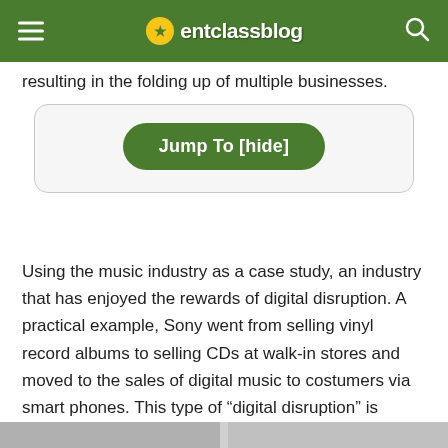entclassblog
resulting in the folding up of multiple businesses.
Jump To [hide]
Using the music industry as a case study, an industry that has enjoyed the rewards of digital disruption. A practical example, Sony went from selling vinyl record albums to selling CDs at walk-in stores and moved to the sales of digital music to costumers via smart phones. This type of “digital disruption” is hitting all industries and you have to find out whether you and your company are prepared for the transformation.